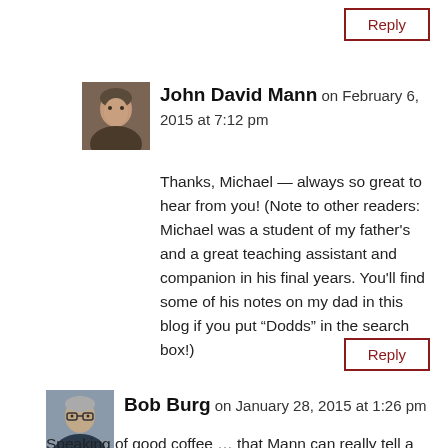Reply
[Figure (photo): Avatar photo of John David Mann, a middle-aged man]
John David Mann on February 6, 2015 at 7:12 pm
Thanks, Michael — always so great to hear from you! (Note to other readers: Michael was a student of my father's and a great teaching assistant and companion in his final years. You'll find some of his notes on my dad in this blog if you put “Dodds” in the search box!)
Reply
[Figure (photo): Avatar photo of Bob Burg, a man with glasses]
Bob Burg on January 28, 2015 at 1:26 pm
Speaking of good coffee … that Mann can really tell a story. The fact that it's true (not